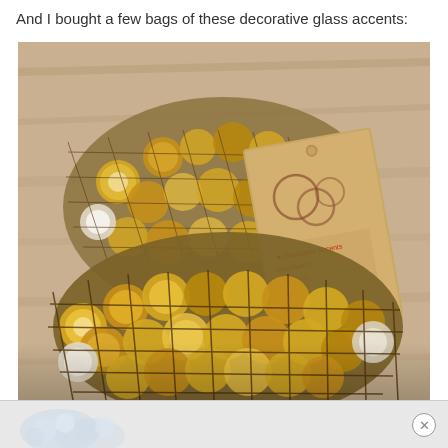And I bought a few bags of these decorative glass accents:
[Figure (photo): Two net bags of amber/gold decorative glass accent stones/gems on a wooden surface. A kraft paper tag reading 'Decorative Accents' is visible on one bag.]
[Figure (photo): Bottom advertisement banner showing glass/crystal decorative items on a light grey background with a close (X) button.]